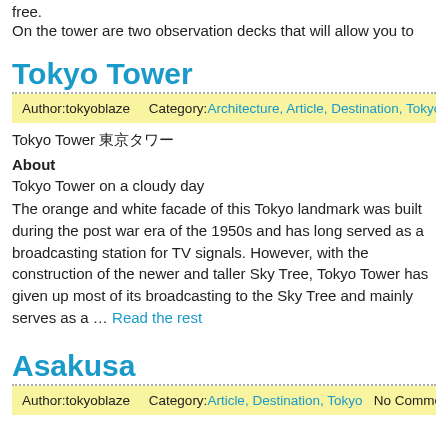free.
On the tower are two observation decks that will allow you to
Tokyo Tower
Author:tokyoblaze    Category:Architecture, Article, Destination, Tokyo    N
Tokyo Tower 東京タワー
About
Tokyo Tower on a cloudy day
The orange and white facade of this Tokyo landmark was built during the post war era of the 1950s and has long served as a broadcasting station for TV signals. However, with the construction of the newer and taller Sky Tree, Tokyo Tower has given up most of its broadcasting to the Sky Tree and mainly serves as a … Read the rest
Asakusa
Author:tokyoblaze    Category:Article, Destination, Tokyo    No Comments